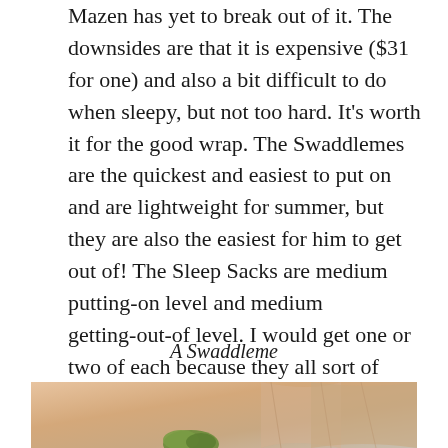Mazen has yet to break out of it. The downsides are that it is expensive ($31 for one) and also a bit difficult to do when sleepy, but not too hard. It's worth it for the good wrap. The Swaddlemes are the quickest and easiest to put on and are lightweight for summer, but they are also the easiest for him to get out of! The Sleep Sacks are medium putting-on level and medium getting-out-of level. I would get one or two of each because they all sort of serve different purposes.
A Swaddleme
[Figure (photo): Photo of a Swaddleme swaddle wrap — a peach/beige fabric with folded edges and a small green element visible at the bottom center.]